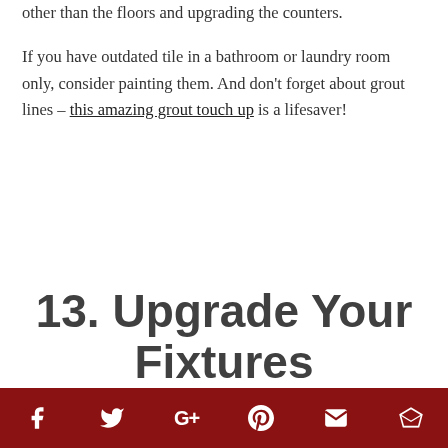other than the floors and upgrading the counters.
If you have outdated tile in a bathroom or laundry room only, consider painting them. And don't forget about grout lines – this amazing grout touch up is a lifesaver!
13. Upgrade Your Fixtures
Social share icons: Facebook, Twitter, Google+, Pinterest, Email, Crown